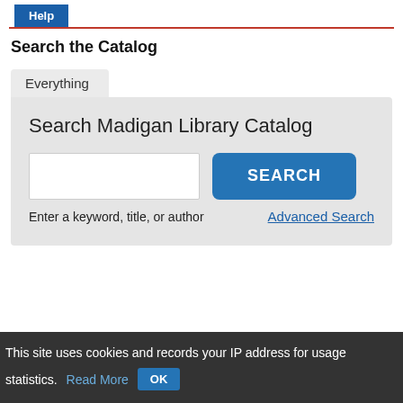Help
Search the Catalog
Everything
Search Madigan Library Catalog
Enter a keyword, title, or author
Advanced Search
This site uses cookies and records your IP address for usage statistics. Read More OK